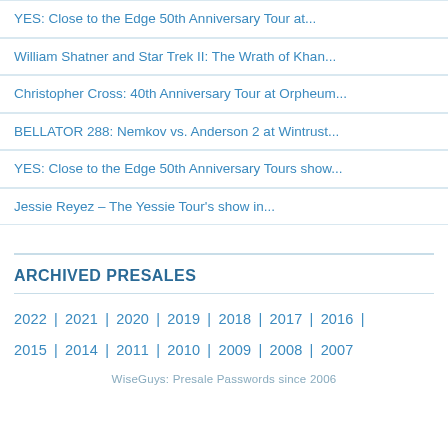YES: Close to the Edge 50th Anniversary Tour at...
William Shatner and Star Trek II: The Wrath of Khan...
Christopher Cross: 40th Anniversary Tour at Orpheum...
BELLATOR 288: Nemkov vs. Anderson 2 at Wintrust...
YES: Close to the Edge 50th Anniversary Tours show...
Jessie Reyez – The Yessie Tour's show in...
ARCHIVED PRESALES
2022 | 2021 | 2020 | 2019 | 2018 | 2017 | 2016 | 2015 | 2014 | 2011 | 2010 | 2009 | 2008 | 2007
WiseGuys: Presale Passwords since 2006